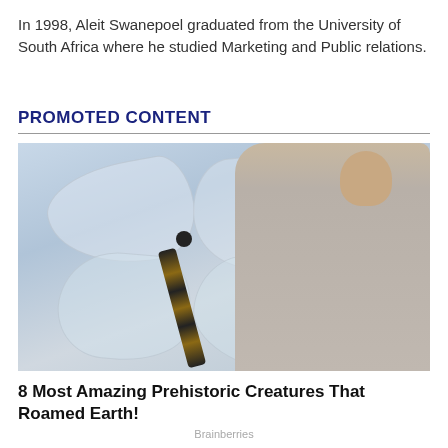In 1998, Aleit Swanepoel graduated from the University of South Africa where he studied Marketing and Public relations.
PROMOTED CONTENT
[Figure (photo): A woman in a grey long-sleeve shirt holding a very large dragonfly (prehistoric creature model/prop) against a light blue-grey background.]
8 Most Amazing Prehistoric Creatures That Roamed Earth!
Brainberries